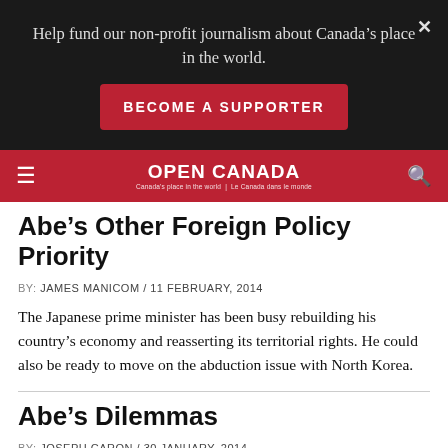Help fund our non-profit journalism about Canada's place in the world.
BECOME A SUPPORTER
OPEN CANADA — Canada's place in the world | Le Canada dans le monde
Abe's Other Foreign Policy Priority
BY: JAMES MANICOM / 11 FEBRUARY, 2014
The Japanese prime minister has been busy rebuilding his country's economy and reasserting its territorial rights. He could also be ready to move on the abduction issue with North Korea.
Abe's Dilemmas
BY: JOSEPH CARON / 30 JANUARY, 2014